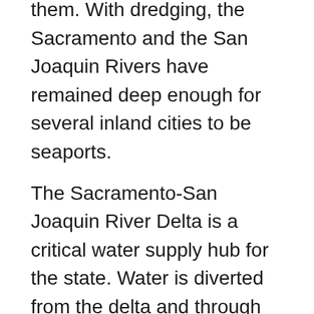them. With dredging, the Sacramento and the San Joaquin Rivers have remained deep enough for several inland cities to be seaports.
The Sacramento-San Joaquin River Delta is a critical water supply hub for the state. Water is diverted from the delta and through an extensive network of pumps and canals that traverse nearly the length of the state, to the Central Valley and the State Water Projects and other needs. Water from the Delta provides drinking water for nearly 23 million people, almost two-thirds of the state's population as well as water for farmers on the west side of the San Joaquin Valley.
Suisun Bay lies at the confluence of the